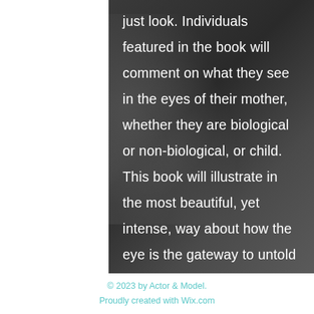just look. Individuals featured in the book will comment on what they see in the eyes of their mother, whether they are biological or non-biological, or child. This book will illustrate in the most beautiful, yet intense, way about how the eye is the gateway to untold stories through individual portraits of different people and the compelling statements about what they see.
© 2023 by Actor & Model. Proudly created with Wix.com